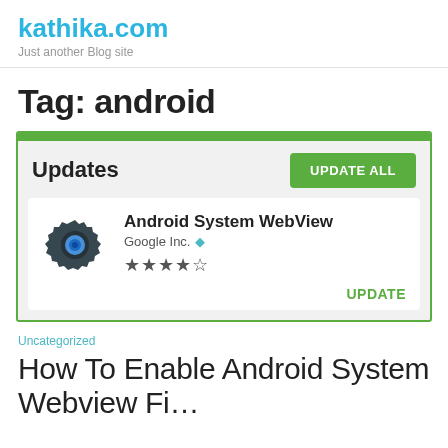kathika.com
Just another Blog site
Tag: android
[Figure (screenshot): Screenshot of Android Google Play Store Updates screen showing Android System WebView by Google Inc. with 4.5-star rating and UPDATE ALL / UPDATE buttons]
Uncategorized
How To Enable Android System Webview Fi…